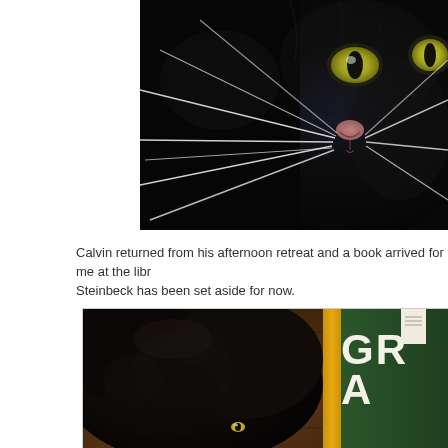[Figure (photo): Close-up photo of a black cat's face with prominent white whiskers and yellow-green eyes, cropped to show mainly nose and whisker area]
Calvin returned from his afternoon retreat and a book arrived for me at the libr... Steinbeck has been set aside for now.
[Figure (photo): Photo of a black cat lying next to a green book with partial text 'GRA' visible on the cover, on a wooden surface]